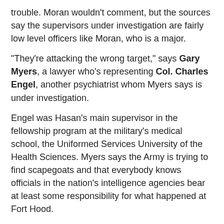trouble. Moran wouldn't comment, but the sources say the supervisors under investigation are fairly low level officers like Moran, who is a major.
"They're attacking the wrong target," says Gary Myers, a lawyer who's representing Col. Charles Engel, another psychiatrist whom Myers says is under investigation.
Engel was Hasan's main supervisor in the fellowship program at the military's medical school, the Uniformed Services University of the Health Sciences. Myers says the Army is trying to find scapegoats and that everybody knows officials in the nation's intelligence agencies bear at least some responsibility for what happened at Fort Hood.
Read entire article:
http://www.npr.org/templates/story/story.php?storyId=122778372
============================
Military Doctors Worried Hasan Was 'Psychotic,' Capable of Killing Fellow Soldiers